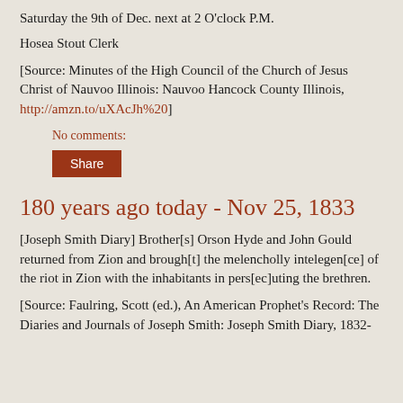Saturday the 9th of Dec. next at 2 O'clock P.M.
Hosea Stout Clerk
[Source: Minutes of the High Council of the Church of Jesus Christ of Nauvoo Illinois: Nauvoo Hancock County Illinois, http://amzn.to/uXAcJh%20]
No comments:
Share
180 years ago today - Nov 25, 1833
[Joseph Smith Diary] Brother[s] Orson Hyde and John Gould returned from Zion and brough[t] the melencholly intelegen[ce] of the riot in Zion with the inhabitants in pers[ec]uting the brethren.
[Source: Faulring, Scott (ed.), An American Prophet's Record: The Diaries and Journals of Joseph Smith: Joseph Smith Diary, 1832-